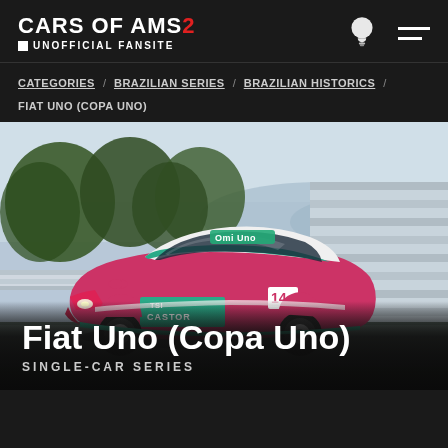CARS OF AMS2 • UNOFFICIAL FANSITE
CATEGORIES / BRAZILIAN SERIES / BRAZILIAN HISTORICS / FIAT UNO (COPA UNO)
[Figure (photo): A Fiat Uno racing car with pink/magenta and teal livery featuring 'CASTOR' branding on a race track, photographed from a three-quarter front angle. Trees and barriers visible in background.]
Fiat Uno (Copa Uno)
SINGLE-CAR SERIES